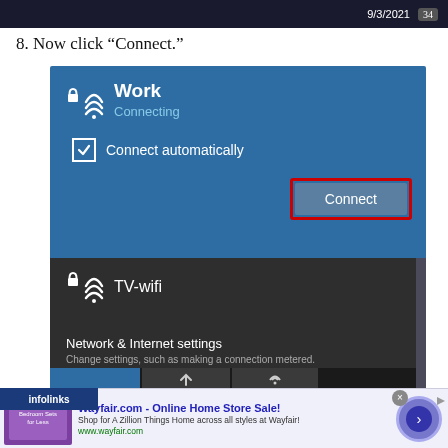[Figure (screenshot): Top portion of a Windows taskbar screenshot showing date 9/3/2021 and a badge showing 34]
8. Now click “Connect.”
[Figure (screenshot): Windows 10 WiFi panel showing 'Work' network with 'Connecting' status, 'Connect automatically' checkbox checked, and a 'Connect' button highlighted with a red rectangle outline. Below shows 'TV-wifi' network and 'Network & Internet settings' with subtitle 'Change settings, such as making a connection metered.']
[Figure (screenshot): Advertisement banner: infolinks logo on left, Wayfair.com ad - 'Wayfair.com - Online Home Store Sale! Shop for A Zillion Things Home across all styles at Wayfair! www.wayfair.com' with bedroom furniture image, close button, and arrow navigation button]